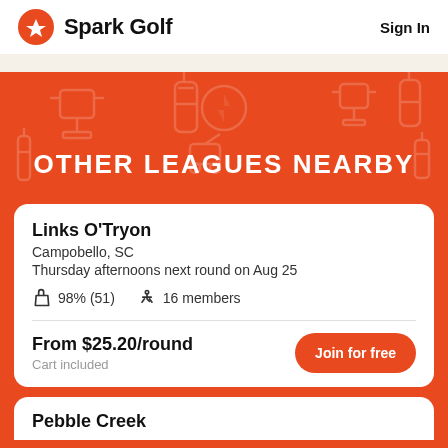Spark Golf  Sign In
OTHER LEAGUES NEARBY
Links O'Tryon
Campobello, SC
Thursday afternoons next round on Aug 25
👍 98% (51)    🏌️ 16 members
From $25.20/round
Cart included
Pebble Creek